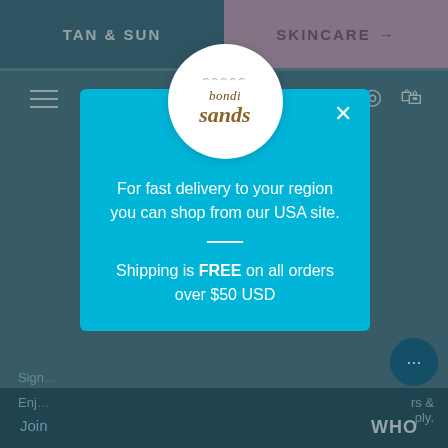TAN & SUN   SKINCARE →
[Figure (screenshot): Bondi Sands website background showing navigation bar with hamburger menu, logo, location and cart icons, partially visible signup text and form fields, dark teal bottom strip with JOIN text and WHO text]
[Figure (logo): Bondi Sands logo: circular white background with arch illustration above 'bondi sands' text in italic serif font]
For fast delivery to your region you can shop from our USA site.
Shipping is FREE on all orders over $50 USD